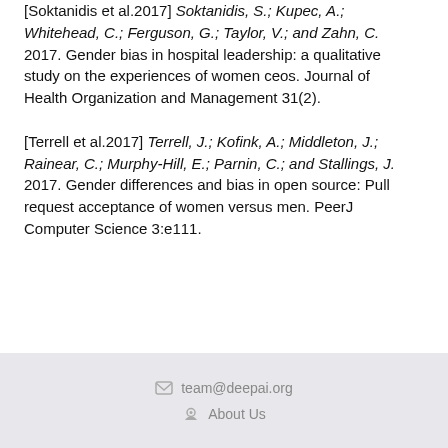[Soktanidis et al.2017] Soktanidis, S.; Kupec, A.; Whitehead, C.; Ferguson, G.; Taylor, V.; and Zahn, C. 2017. Gender bias in hospital leadership: a qualitative study on the experiences of women ceos. Journal of Health Organization and Management 31(2).
[Terrell et al.2017] Terrell, J.; Kofink, A.; Middleton, J.; Rainear, C.; Murphy-Hill, E.; Parnin, C.; and Stallings, J. 2017. Gender differences and bias in open source: Pull request acceptance of women versus men. PeerJ Computer Science 3:e111.
team@deepai.org  About Us